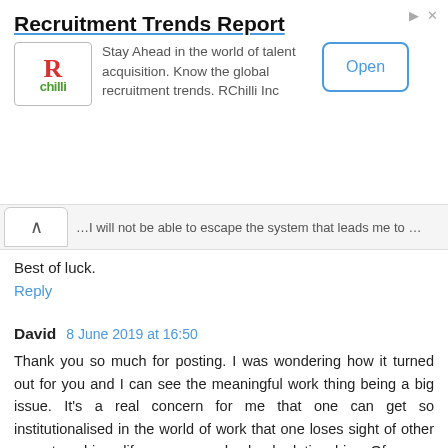[Figure (other): RChilli advertisement banner for Recruitment Trends Report with logo, description text, and Open button]
...I will not be able to escape the system that leads me to FI, eventually.
Best of luck.
Reply
David 8 June 2019 at 16:50
Thank you so much for posting. I was wondering how it turned out for you and I can see the meaningful work thing being a big issue. It's a real concern for me that one can get so institutionalised in the world of work that one loses sight of other ways to achieve life purpose and valued relationships. Of course neither of those things were so hard in childhood, but then something changed. Good luck in whatever direction life takes you next.
Reply